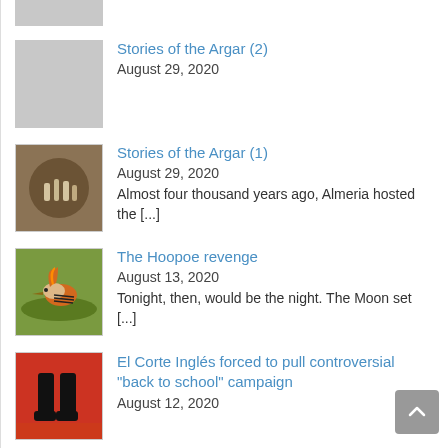[Figure (photo): Partial thumbnail image at top, cropped, gray placeholder]
[Figure (photo): Gray placeholder thumbnail for Stories of the Argar (2)]
Stories of the Argar (2)
August 29, 2020
[Figure (photo): Thumbnail photo showing bones or archaeological artifacts in a circular vessel for Stories of the Argar (1)]
Stories of the Argar (1)
August 29, 2020
Almost four thousand years ago, Almeria hosted the [...]
[Figure (photo): Thumbnail photo of a hoopoe bird standing on green grass]
The Hoopoe revenge
August 13, 2020
Tonight, then, would be the night. The Moon set [...]
[Figure (photo): Thumbnail photo showing black boots on a red background]
El Corte Inglés forced to pull controversial “back to school” campaign
August 12, 2020
El Corte Inglés has had to pull a distressing back to school ad. [...]